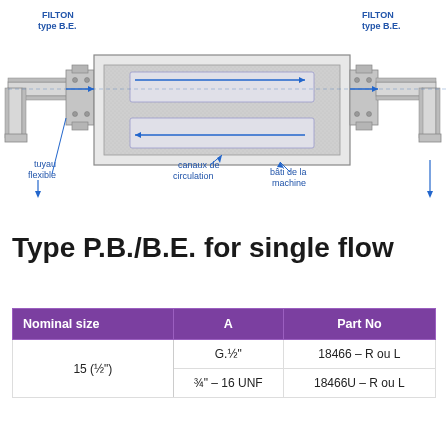[Figure (engineering-diagram): Cross-section engineering diagram of a FILTON type B.E. hydraulic fitting for single flow. Shows two FILTON type B.E. connectors on left and right, connected by hoses ('tuyau flexible') to a central machine body ('bâti de la machine') with internal flow channels ('canaux de circulation'). Blue arrows indicate fluid flow direction through the assembly.]
Type P.B./B.E. for single flow
| Nominal size | A | Part No |
| --- | --- | --- |
| 15 (½") | G.½" | 18466 – R ou L |
|  | ¾" – 16 UNF | 18466U – R ou L |